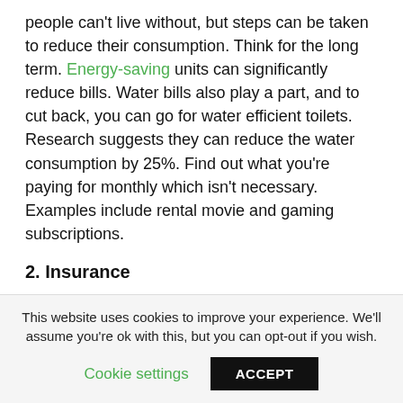people can't live without, but steps can be taken to reduce their consumption. Think for the long term. Energy-saving units can significantly reduce bills. Water bills also play a part, and to cut back, you can go for water efficient toilets. Research suggests they can reduce the water consumption by 25%. Find out what you're paying for monthly which isn't necessary. Examples include rental movie and gaming subscriptions.
2. Insurance
Whether it's life, health or auto sr22 insurance, you should compare prices. You don't need to make dramatic changes. Start by looking around, and you may find a much better
This website uses cookies to improve your experience. We'll assume you're ok with this, but you can opt-out if you wish.
Cookie settings   ACCEPT